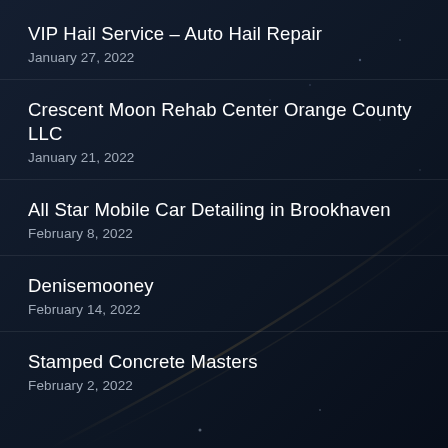VIP Hail Service – Auto Hail Repair
January 27, 2022
Crescent Moon Rehab Center Orange County LLC
January 21, 2022
All Star Mobile Car Detailing in Brookhaven
February 8, 2022
Denisemooney
February 14, 2022
Stamped Concrete Masters
February 2, 2022